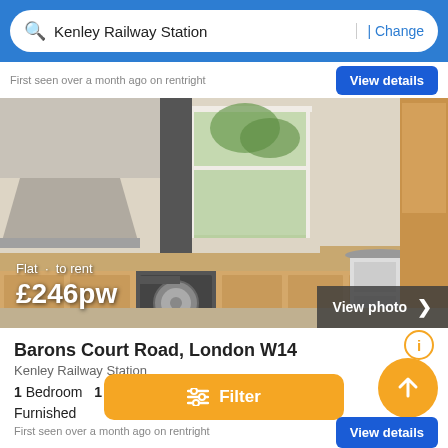Kenley Railway Station | Change
First seen over a month ago on rentright
View details
[Figure (photo): Kitchen interior photo showing wooden cabinets, washing machine, sink near window, cooker hood, and appliances in a flat]
Flat to rent £246pw
Barons Court Road, London W14
Kenley Railway Station
1 Bedroom  1 Bath
Furnished
First seen over a month ago on rentright
View details